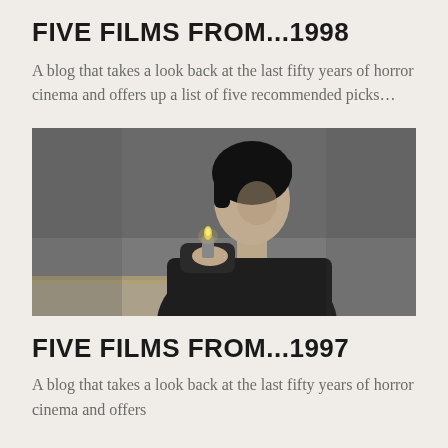FIVE FILMS FROM...1998
A blog that takes a look back at the last fifty years of horror cinema and offers up a list of five recommended picks…
[Figure (photo): Black and white photo of a person with dark hair holding a lit lighter, wearing a dark jacket, against a grey wall background]
FIVE FILMS FROM...1997
A blog that takes a look back at the last fifty years of horror cinema and offers